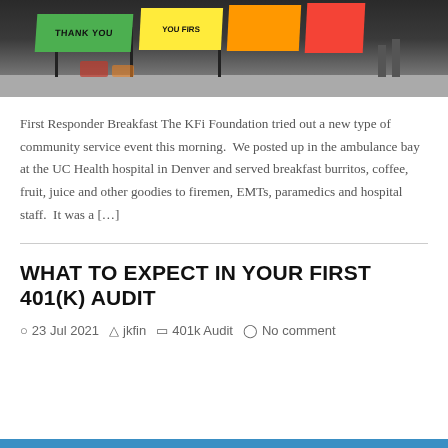[Figure (photo): Photo of a community event with colorful thank-you banners (green, yellow, orange, red) on stands, people's legs visible in background, at what appears to be a hospital bay.]
First Responder Breakfast The KFi Foundation tried out a new type of community service event this morning.  We posted up in the ambulance bay at the UC Health hospital in Denver and served breakfast burritos, coffee, fruit, juice and other goodies to firemen, EMTs, paramedics and hospital staff.  It was a […]
WHAT TO EXPECT IN YOUR FIRST 401(K) AUDIT
23 Jul 2021   jkfin   401k Audit   No comment